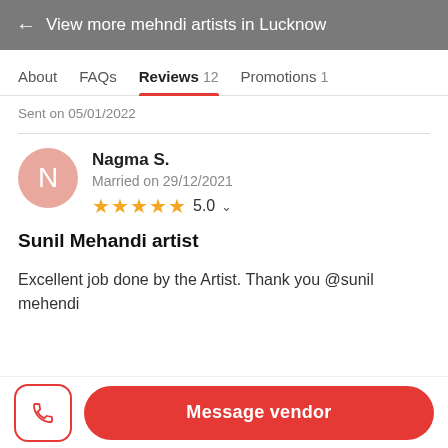← View more mehndi artists in Lucknow
About   FAQs   Reviews 12   Promotions 1
Sent on 05/01/2022
Nagma S.
Married on 29/12/2021
★★★★★ 5.0
Sunil Mehandi artist
Excellent job done by the Artist. Thank you @sunil mehendi
Message vendor